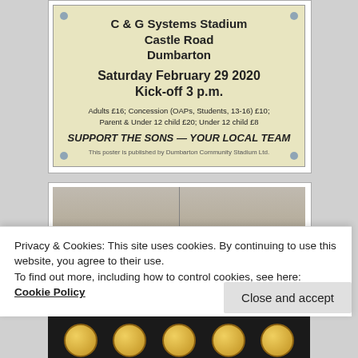[Figure (photo): A yellow-green poster for a football match at C & G Systems Stadium, Castle Road, Dumbarton on Saturday February 29 2020, kick-off 3 p.m., with ticket prices and slogan 'SUPPORT THE SONS — YOUR LOCAL TEAM', published by Dumbarton Community Stadium Ltd.]
[Figure (photo): Photo of a room corner with a dark circular table in the foreground]
Privacy & Cookies: This site uses cookies. By continuing to use this website, you agree to their use.
To find out more, including how to control cookies, see here: Cookie Policy
[Figure (photo): Bottom strip showing medals or coins in black and gold]